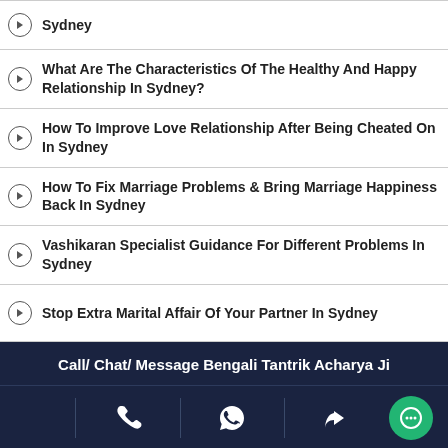Sydney
What Are The Characteristics Of The Healthy And Happy Relationship In Sydney?
How To Improve Love Relationship After Being Cheated On In Sydney
How To Fix Marriage Problems & Bring Marriage Happiness Back In Sydney
Vashikaran Specialist Guidance For Different Problems In Sydney
Stop Extra Marital Affair Of Your Partner In Sydney
How To Get Your Lost Love Back In India
How To Control Someone Using Hair In India
Perform Love Astrology Remedies At Home In India
Call/ Chat/ Message Bengali Tantrik Acharya Ji